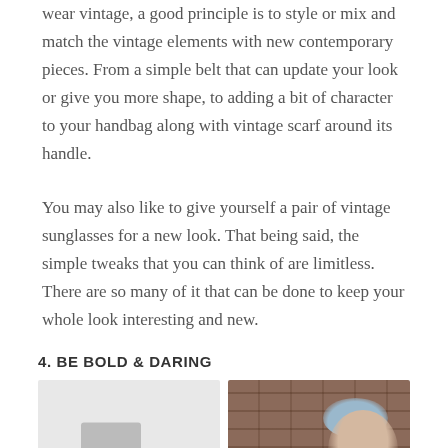wear vintage, a good principle is to style or mix and match the vintage elements with new contemporary pieces. From a simple belt that can update your look or give you more shape, to adding a bit of character to your handbag along with vintage scarf around its handle.
You may also like to give yourself a pair of vintage sunglasses for a new look. That being said, the simple tweaks that you can think of are limitless. There are so many of it that can be done to keep your whole look interesting and new.
4. BE BOLD & DARING
[Figure (photo): Two side-by-side photos: left is a light/whitish fashion photo; right shows a woman with short blue-grey hair against a brick wall background.]